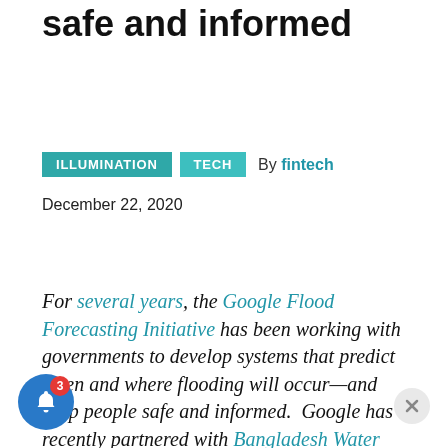safe and informed
ILLUMINATION   TECH   By fintech
December 22, 2020
For several years, the Google Flood Forecasting Initiative has been working with governments to develop systems that predict when and where flooding will occur—and keep people safe and informed. Google has recently partnered with Bangladesh Water Development Board (BWDB) and the Access to Information (a2i)